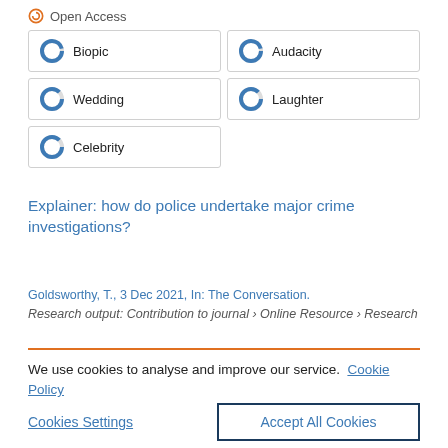Open Access
Biopic
Audacity
Wedding
Laughter
Celebrity
Explainer: how do police undertake major crime investigations?
Goldsworthy, T., 3 Dec 2021, In: The Conversation.
Research output: Contribution to journal › Online Resource › Research
We use cookies to analyse and improve our service. Cookie Policy
Cookies Settings
Accept All Cookies